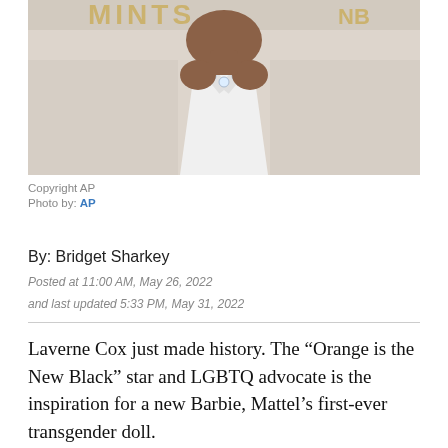[Figure (photo): Partial photo of Laverne Cox wearing a white dress, cropped to show shoulders and below face, with award show backdrop visible. Gold text partially visible at top.]
Copyright AP
Photo by: AP
By: Bridget Sharkey
Posted at 11:00 AM, May 26, 2022
and last updated 5:33 PM, May 31, 2022
Laverne Cox just made history. The “Orange is the New Black” star and LGBTQ advocate is the inspiration for a new Barbie, Mattel’s first-ever transgender doll.